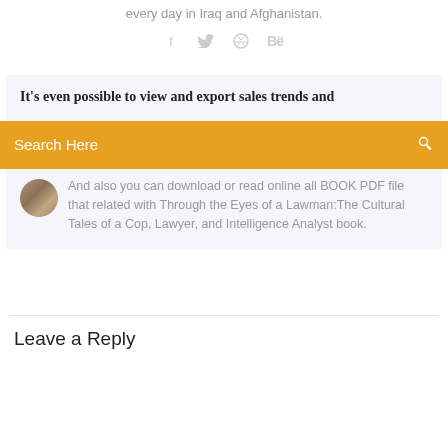every day in Iraq and Afghanistan.
[Figure (infographic): Social media share icons: Facebook (f), Twitter (bird), Dribbble (circle), Behance (Be), displayed in a row, gray color]
It's even possible to view and export sales trends and
Search Here
And also you can download or read online all BOOK PDF file that related with Through the Eyes of a Lawman:The Cultural Tales of a Cop, Lawyer, and Intelligence Analyst book.
Leave a Reply